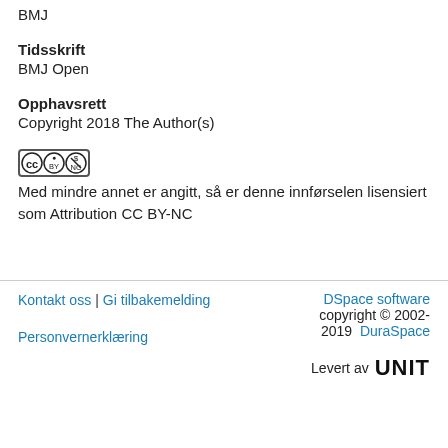BMJ
Tidsskrift
BMJ Open
Opphavsrett
Copyright 2018 The Author(s)
[Figure (logo): Creative Commons BY-NC license badge]
Med mindre annet er angitt, så er denne innførselen lisensiert som Attribution CC BY-NC
Kontakt oss | Gi tilbakemelding | Personvernerklæring | DSpace software copyright © 2002-2019 DuraSpace | Levert av UNIT